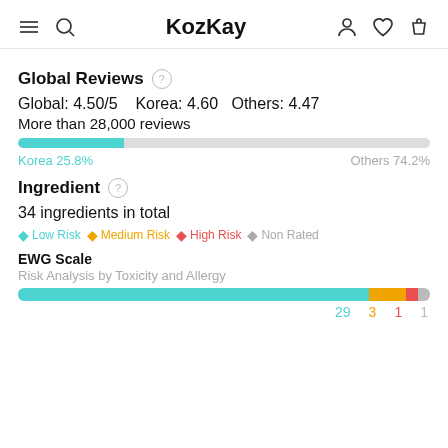KozKay
Global Reviews
Global: 4.50/5   Korea: 4.60   Others: 4.47
More than 28,000 reviews
[Figure (stacked-bar-chart): Korea vs Others review distribution]
Ingredient
34 ingredients in total
Low Risk  Medium Risk  High Risk  Non Rated
EWG Scale
Risk Analysis by Toxicity and Allergy
[Figure (stacked-bar-chart): EWG Scale]